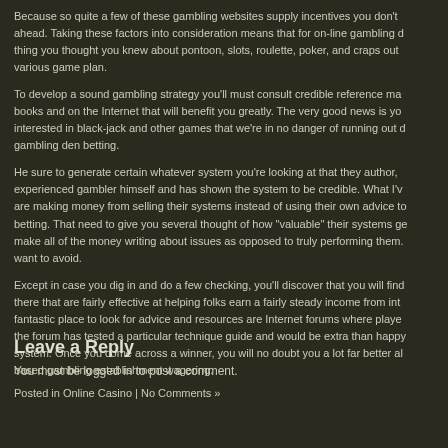Because so quite a few of these gambling websites supply incentives you don't ahead. Taking these factors into consideration means that for on-line gambling d thing you thought you knew about pontoon, slots, roulette, poker, and craps out various game plan.
To develop a sound gambling strategy you'll must consult credible reference ma books and on the Internet that will benefit you greatly. The very good news is yo interested in black-jack and other games that we're in no danger of running out d gambling den betting.
He sure to generate certain whatever system you're looking at that they author, experienced gambler himself and has shown the system to be credible. What I'v are making money from selling their systems instead of using their own advice to betting. That need to give you several thought of how "valuable" their systems ge make all of the money writing about issues as opposed to truly performing them. want to avoid.
Except in case you dig in and do a few checking, you'll discover that you will find there that are fairly effective at helping folks earn a fairly steady income from int fantastic place to look for advice and resources are Internet forums where playe the forum has tested a particular technique guide and would be extra than happy system. Once you come across a winner, you will no doubt you a lot far better al based gambling establishment wagering.
Posted in Online Casino | No Comments »
Leave a Reply
You must be logged in to post a comment.